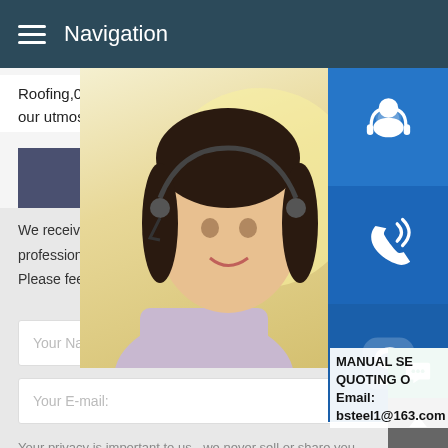Navigation
Roofing,0.75-1000 steel coil.Whatever you our utmost to aid you.
GET IN TOUCH
We receive enquiries in English, Espa professional team will reply to you withi Please feel FREE to contact us!
Your Name:
Your E-mail:
Your privacy is important to us - we never sell or share your information.
[Figure (screenshot): Customer service representative photo with headset, smiling woman]
MANUAL SE QUOTING O Email: bsteel1@163.com